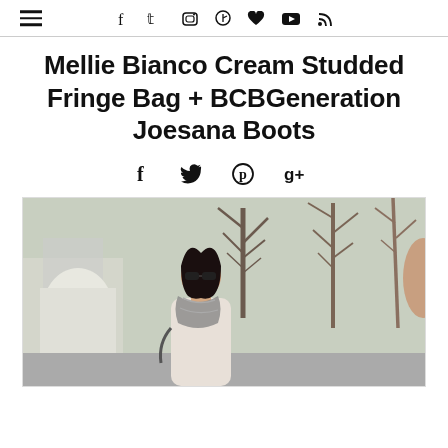Navigation header with hamburger menu and social icons: facebook, twitter, instagram, pinterest, heart, youtube, rss
Mellie Bianco Cream Studded Fringe Bag + BCBGeneration Joesana Boots
Social share icons: facebook, twitter, pinterest, google+
[Figure (photo): A woman wearing sunglasses and a patterned scarf and light-colored coat, standing outdoors on a city street with bare winter trees in the background]